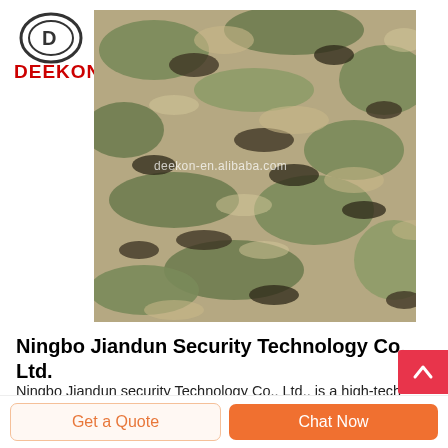[Figure (logo): DEEKON brand logo with circular emblem and red DEEKON text]
[Figure (photo): Close-up photo of camouflage military fabric/uniform in multicam pattern with watermark deekon-en.alibaba.com]
Ningbo Jiandun Security Technology Co., Ltd.
Ningbo Jiandun security Technology Co., Ltd., is a high-tech enterprise integrating R&D, manufacturing and marketing, located next to the south end of the word-famous Cross-Hangzhou-Bay Bridge, in the industrial Park of Simen Town, Yuyao City. Our company having 4 lines of Un-directional fabric production, and 4 lines for finish
Get a Quote
Chat Now